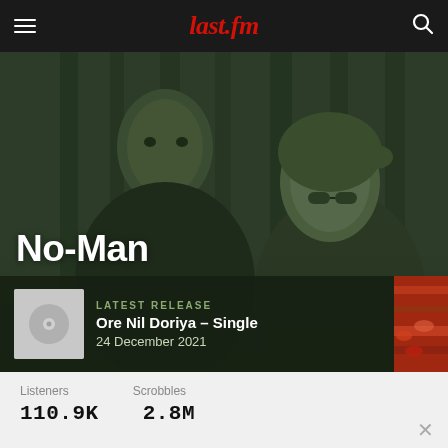last.fm
No-Man
LATEST RELEASE
Ore Nil Doriya – Single
24 December 2021
Listeners   Scrobbles
110.9K   2.8M